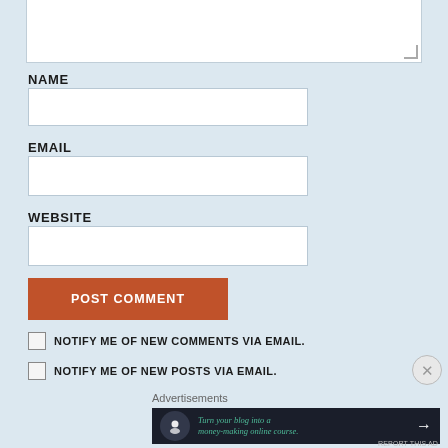[Figure (screenshot): Top portion of a textarea input box (white, with resize handle at bottom right), cropped at top of page]
NAME
[Figure (screenshot): Text input field for Name]
EMAIL
[Figure (screenshot): Text input field for Email]
WEBSITE
[Figure (screenshot): Text input field for Website]
[Figure (screenshot): POST COMMENT button, rust/terracotta color]
NOTIFY ME OF NEW COMMENTS VIA EMAIL.
NOTIFY ME OF NEW POSTS VIA EMAIL.
Advertisements
[Figure (infographic): Dark banner ad: 'Turn your blog into a money-making online course.' with tree/person icon and arrow]